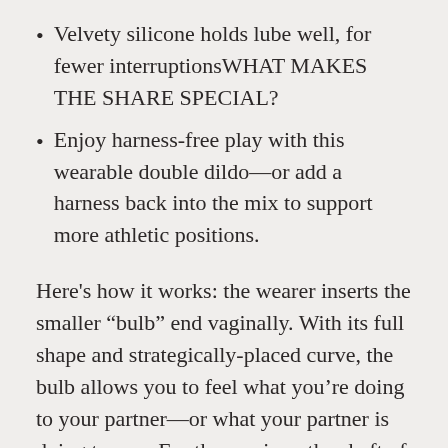Velvety silicone holds lube well, for fewer interruptionsWHAT MAKES THE SHARE SPECIAL?
Enjoy harness-free play with this wearable double dildo—or add a harness back into the mix to support more athletic positions.
Here’s how it works: the wearer inserts the smaller “bulb” end vaginally. With its full shape and strategically-placed curve, the bulb allows you to feel what you’re doing to your partner—or what your partner is doing to you. For the receiver, the shaft of this strapless dildo is firm and smooth, with stimulating grooves running